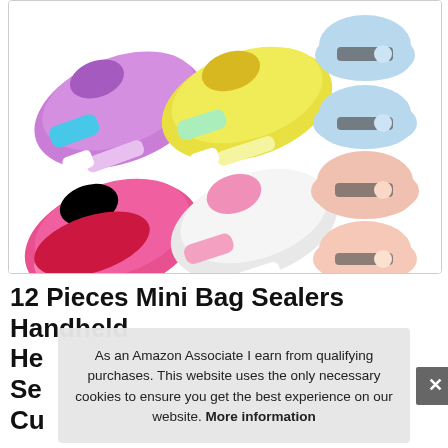[Figure (photo): Product photo showing 12 pieces mini bag sealers in multiple colors (purple, yellow, blue, pink, red, white, peach) — handheld heat sealers and small cloud-shaped components arranged on white background.]
12 Pieces Mini Bag Sealers Handheld He... Se... Cu...
As an Amazon Associate I earn from qualifying purchases. This website uses the only necessary cookies to ensure you get the best experience on our website. More information